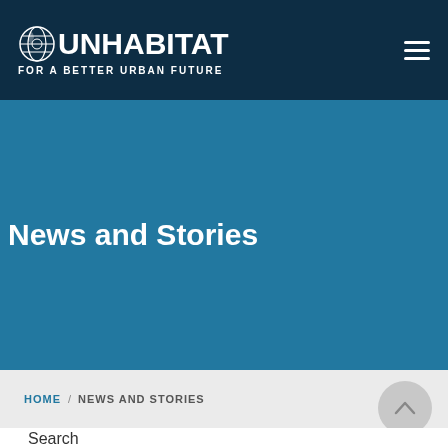UN-HABITAT FOR A BETTER URBAN FUTURE
News and Stories
HOME / NEWS AND STORIES
Search